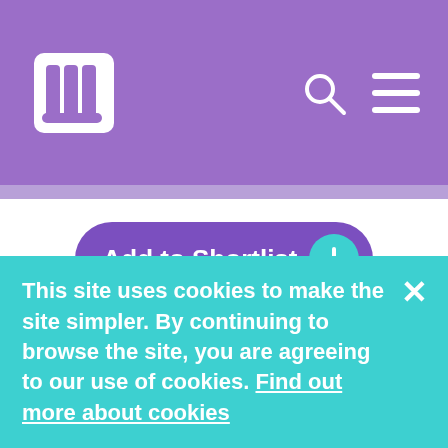Lily – navigation header with logo, search icon, and menu icon
[Figure (logo): Lily logo: white stylized book/bookmark icon on purple background]
Add to Shortlist +
Adfam
Adfam is the national charity working to
This site uses cookies to make the site simpler. By continuing to browse the site, you are agreeing to our use of cookies. Find out more about cookies